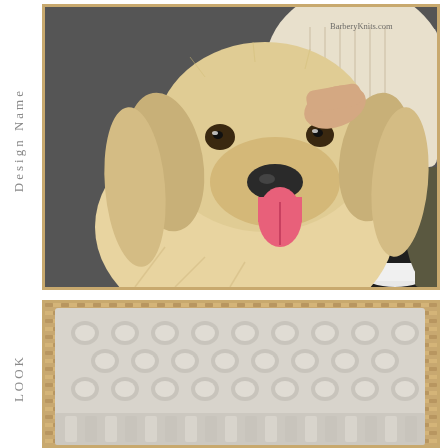Design Name
[Figure (photo): A golden retriever dog sitting next to a person wearing a cream cable-knit sweater, dark pants, and white sneakers. The dog has long, light golden fur, a pink tongue out, and is looking at the camera. The background is a dark pavement. Watermark: BarberyKnits.com]
LOOK
[Figure (photo): Close-up of a knitted fabric with a bobble/bubble stitch pattern. The yarn is light grey/cream colored. The knit shows rows of raised bobbles arranged in a grid pattern on a woven mat background.]